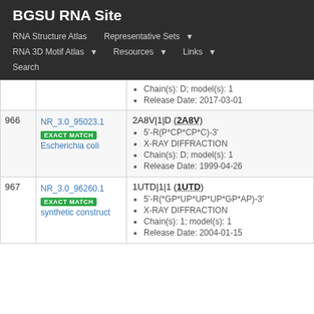BGSU RNA Site
RNA Structure Atlas | Representative Sets | RNA 3D Motif Atlas | Resources | Links | Search
| # | ID / Match / Organism | Structure Details |
| --- | --- | --- |
|  |  | Chain(s): D; model(s): 1 | Release Date: 2017-03-01 |
| 966 | NR_3.0_95023.1 EXACT MATCH Escherichia coli | 2A8V|1|D (2A8V) • 5'-R(P*CP*CP*C)-3' • X-RAY DIFFRACTION • Chain(s): D; model(s): 1 • Release Date: 1999-04-26 |
| 967 | NR_3.0_96260.1 EXACT MATCH synthetic construct | 1UTD|1|1 (1UTD) • 5'-R(*GP*UP*UP*UP*GP*AP)-3' • X-RAY DIFFRACTION • Chain(s): 1; model(s): 1 • Release Date: 2004-01-15 |